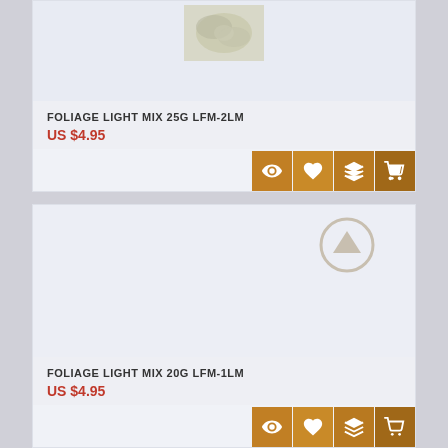[Figure (screenshot): Product card for FOLIAGE LIGHT MIX 25G LFM-2LM showing a product image at top, name, price, and action buttons (eye, heart, layers, cart) in orange]
FOLIAGE LIGHT MIX 25G LFM-2LM
US $4.95
[Figure (screenshot): Product card for FOLIAGE LIGHT MIX 20G LFM-1LM showing empty image area with scroll-up icon, name, price, and action buttons (eye, heart, layers, cart) in orange]
FOLIAGE LIGHT MIX 20G LFM-1LM
US $4.95